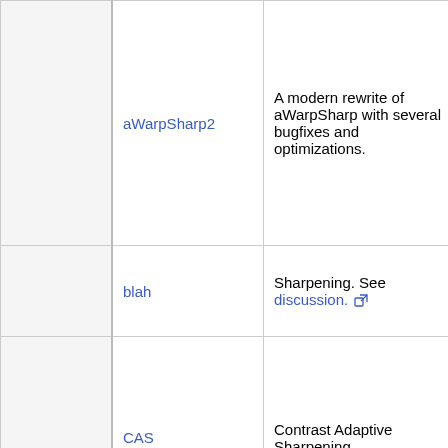| (col1) | Filter | Description | Supported formats (clipped) |
| --- | --- | --- | --- |
|  | aWarpSharp2 | A modern rewrite of aWarpSharp with several bugfixes and optimizations. | Y8, YV12, YV16, YV24, all planar Y, YUV formats 8 to 16 bit |
|  | blah | Sharpening. See discussion. | YV12 |
|  | CAS | Contrast Adaptive Sharpening. | Y8, YV12, YV16, YV24, all planar Y, YUV(A), RGB(A) formats 8 to 32... |